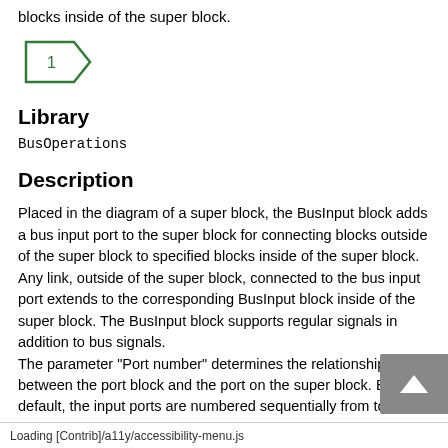blocks inside of the super block.
[Figure (schematic): BusInput block symbol — a pentagon/arrow shape with the number 1 inside, pointing right, outlined in green]
Library
BusOperations
Description
Placed in the diagram of a super block, the BusInput block adds a bus input port to the super block for connecting blocks outside of the super block to specified blocks inside of the super block. Any link, outside of the super block, connected to the bus input port extends to the corresponding BusInput block inside of the super block. The BusInput block supports regular signals in addition to bus signals.
The parameter "Port number" determines the relationship between the port block and the port on the super block. By default, the input ports are numbered sequentially from top to bottom.
Parameters